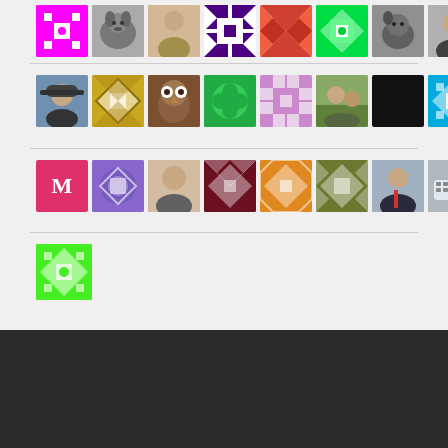[Figure (photo): Grid of user avatars - Row 1: magenta quilt pattern, black and white dog photo, person standing, purple quilt pattern, red/orange quilt pattern, green quilt pattern, dog photo, woman portrait]
[Figure (photo): Grid of user avatars - Row 2: person wearing hat and glasses, gold quilt pattern, owl illustration, green shamrock quilt, lavender quilt pattern, outdoor photo with people and dog, cyan quilt pattern]
[Figure (photo): Grid of user avatars - Row 3: pink M letter avatar, purple quilt, selfie photo, dark maroon quilt, orange quilt, olive quilt, man in suit, hands on keyboard]
[Figure (photo): Single lime green quilt pattern avatar]
BLOG AT WORDPRESS.COM.